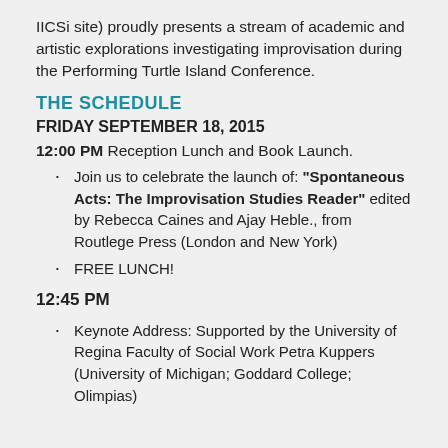IICSi site) proudly presents a stream of academic and artistic explorations investigating improvisation during the Performing Turtle Island Conference.
THE SCHEDULE
FRIDAY SEPTEMBER 18, 2015
12:00 PM Reception Lunch and Book Launch.
Join us to celebrate the launch of: “Spontaneous Acts: The Improvisation Studies Reader” edited by Rebecca Caines and Ajay Heble., from Routlege Press (London and New York)
FREE LUNCH!
12:45 PM
Keynote Address: Supported by the University of Regina Faculty of Social Work Petra Kuppers (University of Michigan; Goddard College; Olimpias)